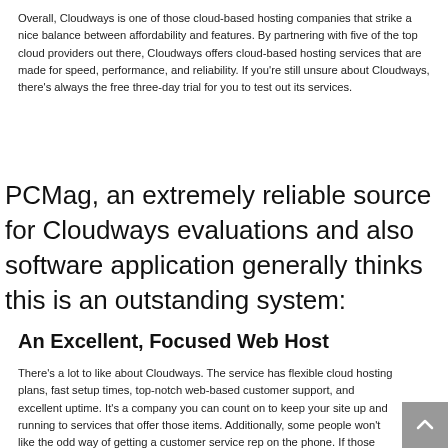Overall, Cloudways is one of those cloud-based hosting companies that strike a nice balance between affordability and features. By partnering with five of the top cloud providers out there, Cloudways offers cloud-based hosting services that are made for speed, performance, and reliability. If you're still unsure about Cloudways, there's always the free three-day trial for you to test out its services.
PCMag, an extremely reliable source for Cloudways evaluations and also software application generally thinks this is an outstanding system:
An Excellent, Focused Web Host
There's a lot to like about Cloudways. The service has flexible cloud hosting plans, fast setup times, top-notch web-based customer support, and excellent uptime. It's a company you can count on to keep your site up and running to services that offer those items. Additionally, some people won't like the odd way of getting a customer service rep on the phone. If those caveats aren't dealbreakers, however, give Cloudways a chance. You m find it offers just what you need to get and keep your website online